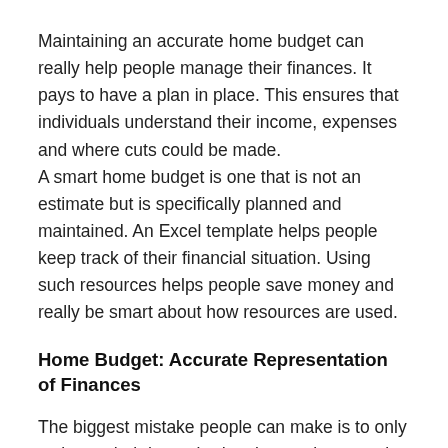Maintaining an accurate home budget can really help people manage their finances. It pays to have a plan in place. This ensures that individuals understand their income, expenses and where cuts could be made. A smart home budget is one that is not an estimate but is specifically planned and maintained. An Excel template helps people keep track of their financial situation. Using such resources helps people save money and really be smart about how resources are used.
Home Budget: Accurate Representation of Finances
The biggest mistake people can make is to only estimate their home budget but not keep track of expenses. This often leads to overspending and even to late payments. Not keeping track of income and expenses can really cost people